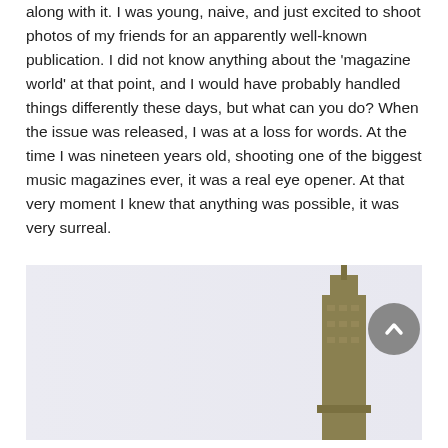along with it. I was young, naive, and just excited to shoot photos of my friends for an apparently well-known publication. I did not know anything about the 'magazine world' at that point, and I would have probably handled things differently these days, but what can you do? When the issue was released, I was at a loss for words. At the time I was nineteen years old, shooting one of the biggest music magazines ever, it was a real eye opener. At that very moment I knew that anything was possible, it was very surreal.
[Figure (photo): Photograph showing a building (appears to be a tower or skyscraper) on the right side against a light background, partially visible. A circular scroll-up button overlaps the top right of the image.]